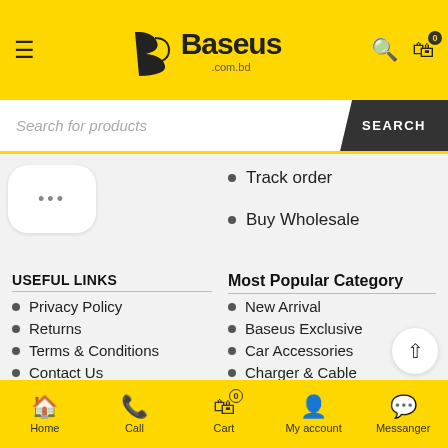Baseus .com.bd — navigation header with hamburger, logo, search, cart icons
Search for products
Track order
Buy Wholesale
USEFUL LINKS
Privacy Policy
Returns
Terms & Conditions
Contact Us
Most Popular Category
New Arrival
Baseus Exclusive
Car Accessories
Charger & Cable
Home | Call | Cart | My account | Messanger